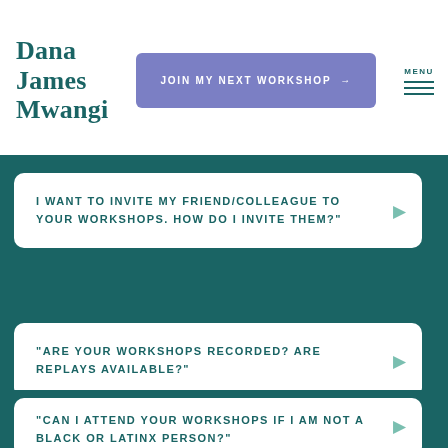Dana James Mwangi
JOIN MY NEXT WORKSHOP →
MENU
I WANT TO INVITE MY FRIEND/COLLEAGUE TO YOUR WORKSHOPS. HOW DO I INVITE THEM?"
"ARE YOUR WORKSHOPS RECORDED? ARE REPLAYS AVAILABLE?"
"CAN I ATTEND YOUR WORKSHOPS IF I AM NOT A BLACK OR LATINX PERSON?"